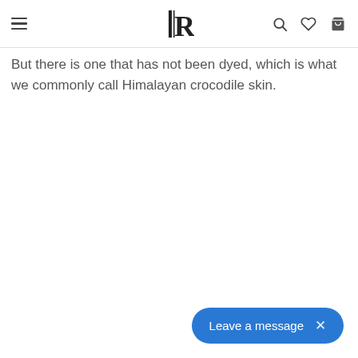≡  IR  🔍  ♡  🛒
But there is one that has not been dyed, which is what we commonly call Himalayan crocodile skin.
[Figure (other): Chat widget button with text 'Leave a message' and close X button]